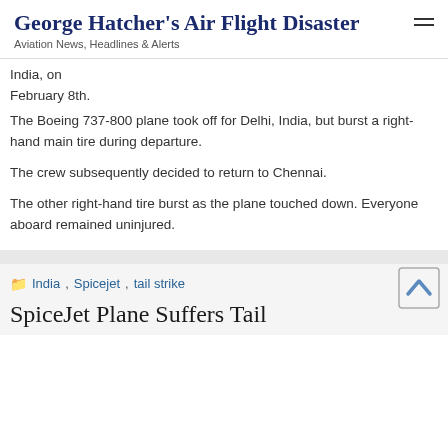George Hatcher's Air Flight Disaster
Aviation News, Headlines & Alerts
India, on February 8th.
The Boeing 737-800 plane took off for Delhi, India, but burst a right-hand main tire during departure.
The crew subsequently decided to return to Chennai.
The other right-hand tire burst as the plane touched down. Everyone aboard remained uninjured.
India, Spicejet, tail strike
SpiceJet Plane Suffers Tail